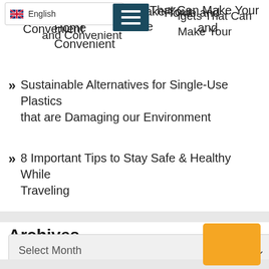[Figure (screenshot): Language selector dropdown showing English with UK flag, and a dark teal hamburger menu icon]
Gadgets That Can Make Your Home Smart and Convenient
Sustainable Alternatives for Single-Use Plastics that are Damaging our Environment
8 Important Tips to Stay Safe & Healthy While Traveling
Archives
Select Month
[Figure (other): Orange/yellow button in bottom right corner]